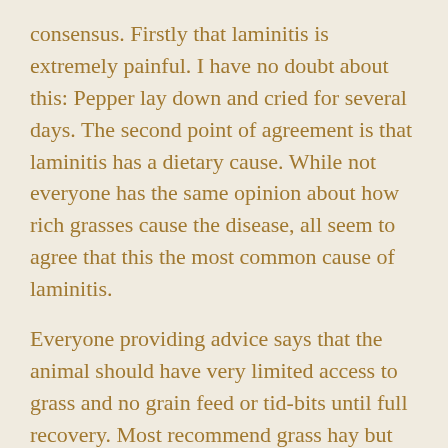consensus. Firstly that laminitis is extremely painful. I have no doubt about this: Pepper lay down and cried for several days. The second point of agreement is that laminitis has a dietary cause. While not everyone has the same opinion about how rich grasses cause the disease, all seem to agree that this the most common cause of laminitis.
Everyone providing advice says that the animal should have very limited access to grass and no grain feed or tid-bits until full recovery. Most recommend grass hay but few consider what nutrients are contained in the hay. The sugar content of grass and the hay made from grass has only recently come under consideration. It seems that much research is still required before equine owners can find out just